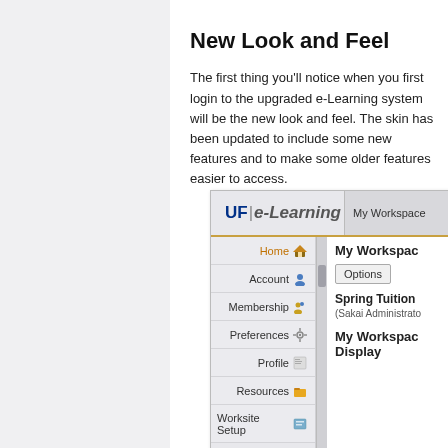New Look and Feel
The first thing you'll notice when you first login to the upgraded e-Learning system will be the new look and feel. The skin has been updated to include some new features and to make some older features easier to access.
[Figure (screenshot): Screenshot of UF e-Learning interface showing the navigation menu with Home, Account, Membership, Preferences, Profile, Resources, Worksite Setup items, and My Workspace panel on the right with Options button, Spring Tuition, and My Workspace Display sections.]